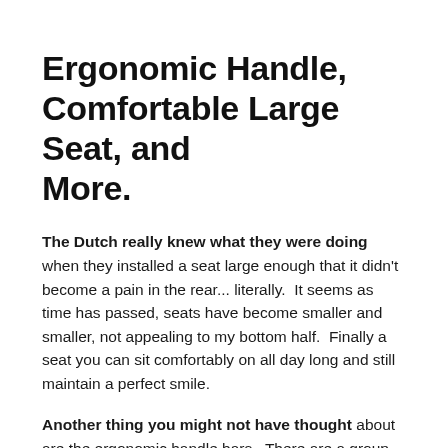Ergonomic Handle, Comfortable Large Seat, and More.
The Dutch really knew what they were doing when they installed a seat large enough that it didn't become a pain in the rear... literally.  It seems as time has passed, seats have become smaller and smaller, not appealing to my bottom half.  Finally a seat you can sit comfortably on all day long and still maintain a perfect smile.
Another thing you might not have thought about are the ergonomic handle bars.  There are a group of people out there that don't have to be up there in the high mountains on crazy trails to have fun.